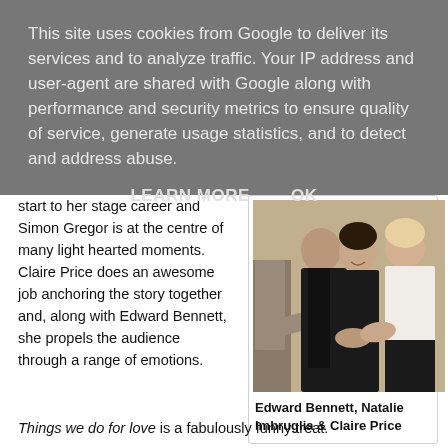This site uses cookies from Google to deliver its services and to analyze traffic. Your IP address and user-agent are shared with Google along with performance and security metrics to ensure quality of service, generate usage statistics, and to detect and address abuse.
LEARN MORE    OK
start to her stage career and Simon Gregor is at the centre of many light hearted moments. Claire Price does an awesome job anchoring the story together and, along with Edward Bennett, she propels the audience through a range of emotions.
[Figure (photo): Three people shaking hands — Edward Bennett, Natalie Imbruglia and Claire Price]
Edward Bennett, Natalie Imbruglia & Claire Price
Things we do for love is a fabulously funny treat.